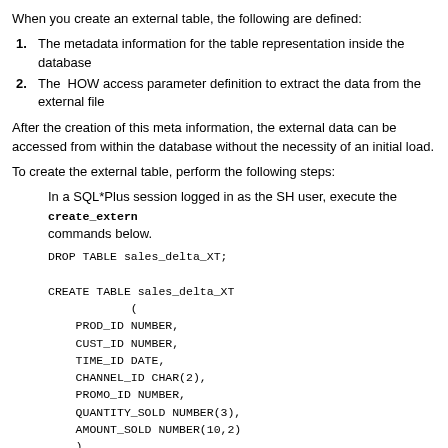When you create an external table, the following are defined:
1. The metadata information for the table representation inside the database
2. The HOW access parameter definition to extract the data from the external file
After the creation of this meta information, the external data can be accessed from within the database without the necessity of an initial load.
To create the external table, perform the following steps:
In a SQL*Plus session logged in as the SH user, execute the create_extern commands below.
DROP TABLE sales_delta_XT;

CREATE TABLE sales_delta_XT
            (
    PROD_ID NUMBER,
    CUST_ID NUMBER,
    TIME_ID DATE,
    CHANNEL_ID CHAR(2),
    PROMO_ID NUMBER,
    QUANTITY_SOLD NUMBER(3),
    AMOUNT_SOLD NUMBER(10,2)
    )
    ORGANIZATION external
    (
    TYPE oracle_loader
    DEFAULT DIRECTORY data_dir
    ACCESS PARAMETERS
    (
    RECORDS DELIMITED BY NEWLINE CHARACTERSET US7ASCII